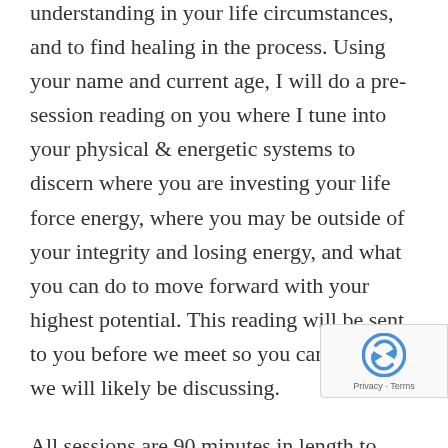understanding in your life circumstances, and to find healing in the process. Using your name and current age, I will do a pre-session reading on you where I tune into your physical & energetic systems to discern where you are investing your life force energy, where you may be outside of your integrity and losing energy, and what you can do to move forward with your highest potential. This reading will be sent to you before we meet so you can see what we will likely be discussing.
All sessions are 90 minutes in length to provide sufficient time for us to go over my